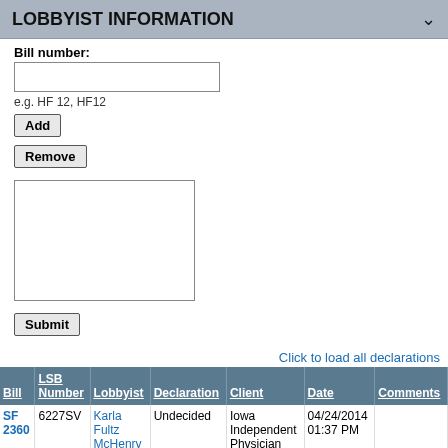LOBBYIST INFORMATION
Bill number:
e.g. HF 12, HF12
Add
Remove
Submit
Click to load all declarations
| Bill | LSB Number | Lobbyist | Declaration | Client | Date | Comments |
| --- | --- | --- | --- | --- | --- | --- |
| SF 2360 | 6227SV | Karla Fultz McHenry | Undecided | Iowa Independent Physician | 04/24/2014 01:37 PM |  |